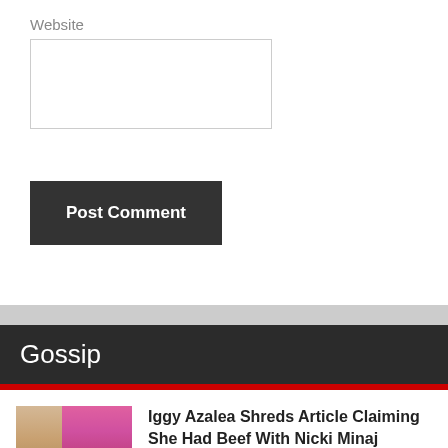Website
[Figure (screenshot): Empty text input box for website URL field]
Post Comment
Gossip
[Figure (photo): Two women - one blonde, one with pink hair]
Iggy Azalea Shreds Article Claiming She Had Beef With Nicki Minaj
[Figure (photo): Partially visible photo at bottom of page]
Partially visible article title at bottom